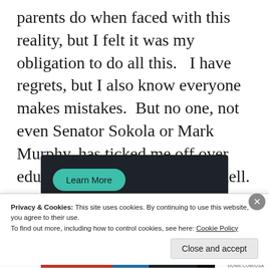parents do when faced with this reality, but I felt it was my obligation to do all this.  I have regrets, but I also know everyone makes mistakes.  But no one, not even Senator Sokola or Mark Murphy, has ticked me off over education more than Jack Markell.
[Figure (screenshot): Dark banner advertisement with a teal 'Learn More' button on a dark background]
Privacy & Cookies: This site uses cookies. By continuing to use this website, you agree to their use.
To find out more, including how to control cookies, see here: Cookie Policy
Close and accept